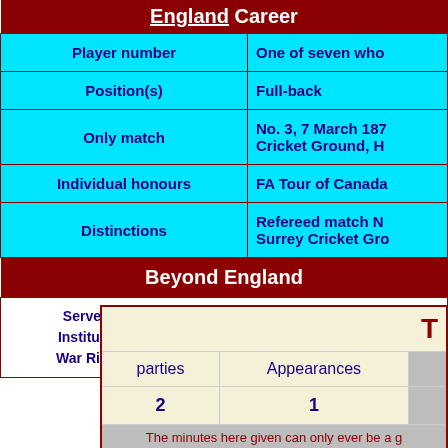| England Career |  |
| --- | --- |
| Player number | One of seven who |
| Position(s) | Full-back |
| Only match | No. 3, 7 March 187... Cricket Ground, H... |
| Individual honours | FA Tour of Canada... |
| Distinctions | Refereed match N... Surrey Cricket Gro... |
Beyond England
Served on the FA Committee 1874 until 1881 and... Institute of Lloyds Underwriters 1910-11 and unde... War Risks Department 1914-19. - An English Footb...
| T | parties | Appearances |  |
| --- | --- | --- | --- |
|  | 2 | 1 |  |
| The minutes here given can only ever be a g... |
| P | W | D | L | F | A |
| 1 | 0 | 0 | 1 | 1 |  |